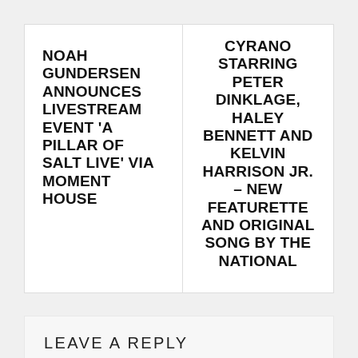NOAH GUNDERSEN ANNOUNCES LIVESTREAM EVENT 'A PILLAR OF SALT LIVE' VIA MOMENT HOUSE
CYRANO STARRING PETER DINKLAGE, HALEY BENNETT AND KELVIN HARRISON JR. – NEW FEATURETTE AND ORIGINAL SONG BY THE NATIONAL
LEAVE A REPLY
Your email address will not be published. Required fields are marked *
Commen
+ *